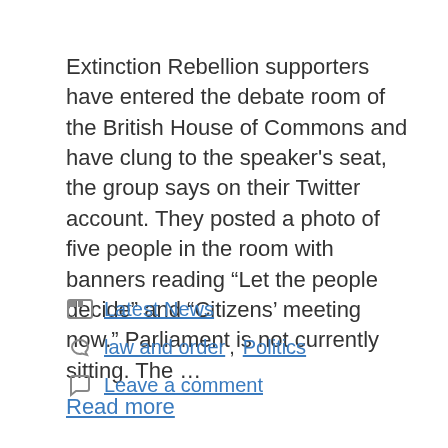Extinction Rebellion supporters have entered the debate room of the British House of Commons and have clung to the speaker's seat, the group says on their Twitter account. They posted a photo of five people in the room with banners reading “Let the people decide” and “Citizens’ meeting now.” Parliament is not currently sitting. The … Read more
Latest News
law and order, Politics
Leave a comment